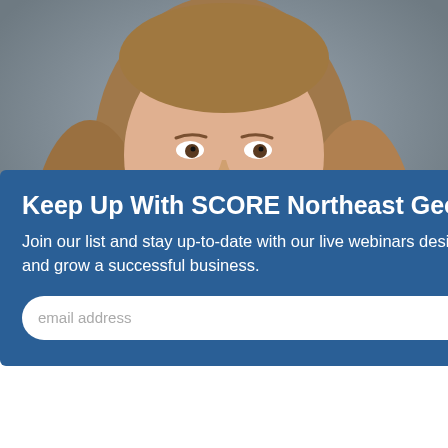[Figure (photo): Professional headshot of a woman with long brown/blonde hair, smiling, wearing earrings and a beaded necklace, gray background.]
Keep Up With SCORE Northeast Georgia
Join our list and stay up-to-date with our live webinars designed to help you start and grow a successful business.
Management, where she began as a weekend leasing consultant, eventually starting her own management firm in 2000. She successfully developed services that filled a niche for a hands-on